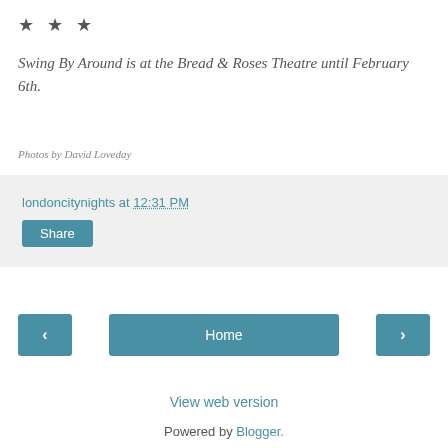★ ★ ★
Swing By Around is at the Bread & Roses Theatre until February 6th.
Photos by David Loveday
londoncitynights at 12:31 PM
Share
< Home >
View web version
Powered by Blogger.